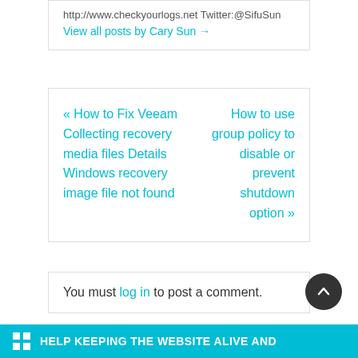http://www.checkyourlogs.net Twitter:@SifuSun
View all posts by Cary Sun →
« How to Fix Veeam Collecting recovery media files Details Windows recovery image file not found
How to use group policy to disable or prevent shutdown option »
You must log in to post a comment.
HELP KEEPING THE WEBSITE ALIVE AND